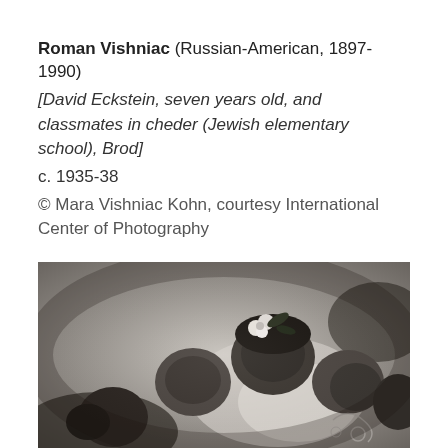Roman Vishniac (Russian-American, 1897-1990) [David Eckstein, seven years old, and classmates in cheder (Jewish elementary school), Brod] c. 1935-38 © Mara Vishniac Kohn, courtesy International Center of Photography
[Figure (photo): Black and white photograph showing children's heads with a flower visible, dark and moody lighting, vintage photographic style]